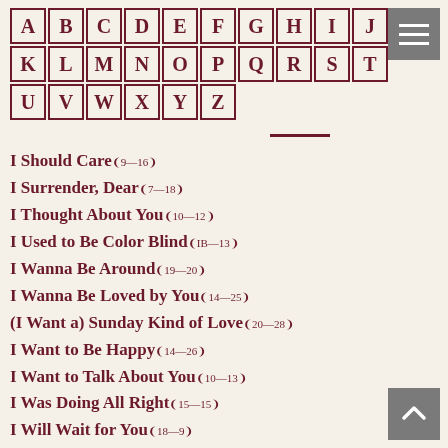[Figure (other): Alphabet navigation grid with letters A-Z in bordered cells]
I Should Care 9—16
I Surrender, Dear 7—18
I Thought About You 10—12
I Used to Be Color Blind IB—13
I Wanna Be Around 19—20
I Wanna Be Loved by You 14—25
(I Want a) Sunday Kind of Love 20—28
I Want to Be Happy 14—26
I Want to Talk About You 10—13
I Was Doing All Right 15—15
I Will Wait for You 18—9
I Wish I Knew 15—16